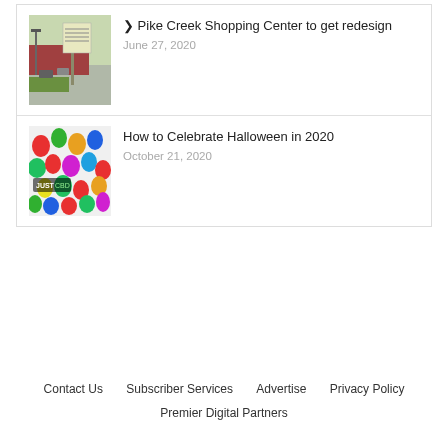[Figure (photo): Thumbnail photo of Pike Creek Shopping Center with sign in foreground, parking lot visible]
❯ Pike Creek Shopping Center to get redesign
June 27, 2020
[Figure (photo): Thumbnail photo of colorful gummy candy with JUSTCBD branding overlay]
How to Celebrate Halloween in 2020
October 21, 2020
Contact Us   Subscriber Services   Advertise   Privacy Policy
Premier Digital Partners